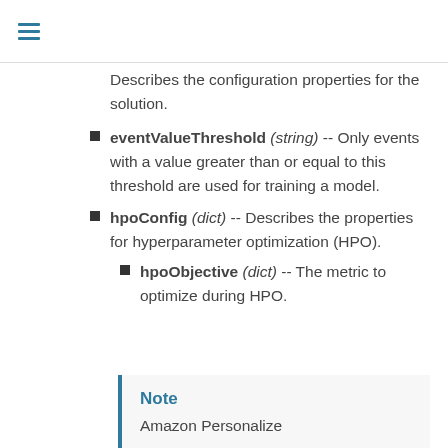Describes the configuration properties for the solution.
eventValueThreshold (string) -- Only events with a value greater than or equal to this threshold are used for training a model.
hpoConfig (dict) -- Describes the properties for hyperparameter optimization (HPO).
hpoObjective (dict) -- The metric to optimize during HPO.
Note
Amazon Personalize